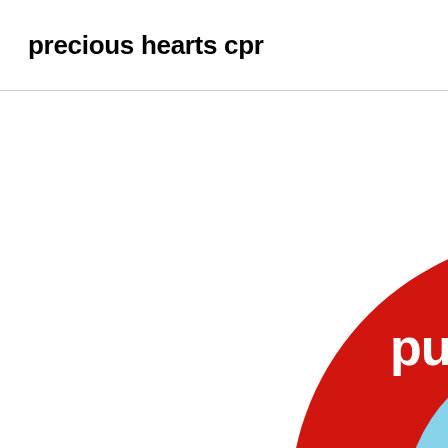precious hearts cpr
[Figure (illustration): Partial view of a large circular bullseye/target graphic in the bottom-right corner. A large red ring (donut shape) surrounds a light blue inner circle. The inner blue circle contains partial white text reading 'pu' (rest is cut off). The graphic is cropped at the right and bottom edges of the page.]